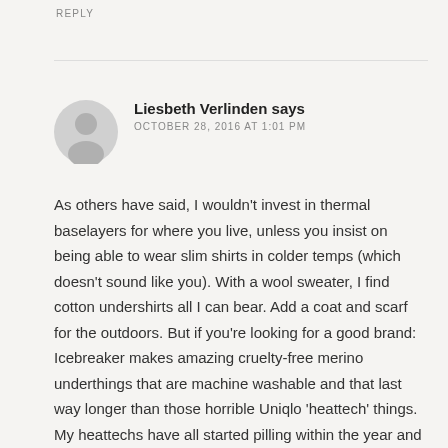REPLY
Liesbeth Verlinden says
OCTOBER 28, 2016 AT 1:01 PM
As others have said, I wouldn't invest in thermal baselayers for where you live, unless you insist on being able to wear slim shirts in colder temps (which doesn't sound like you). With a wool sweater, I find cotton undershirts all I can bear. Add a coat and scarf for the outdoors. But if you're looking for a good brand: Icebreaker makes amazing cruelty-free merino underthings that are machine washable and that last way longer than those horrible Uniqlo 'heattech' things. My heattechs have all started pilling within the year and they aren't actually that